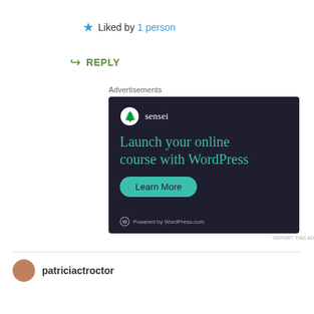★ Liked by 1 person
↪ REPLY
Advertisements
[Figure (screenshot): Sensei advertisement: dark background with Sensei logo, headline 'Launch your online course with WordPress', a teal 'Learn More' button, and 'Powered by WordPress.com' footer.]
REPORT THIS AD
patriciactroctor